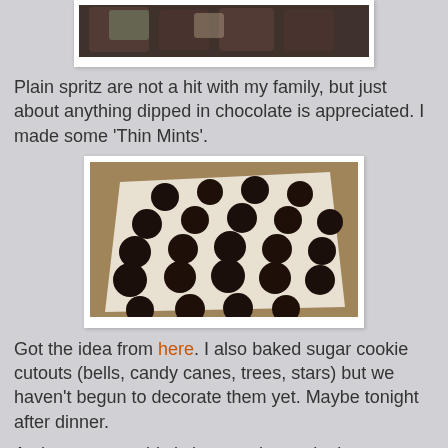[Figure (photo): Photo of chocolate-dipped cookies or treats from above, partially visible at top of page]
Plain spritz are not a hit with my family, but just about anything dipped in chocolate is appreciated. I made some 'Thin Mints'.
[Figure (photo): Photo of dark chocolate round cookies laid out on parchment paper on a baking sheet, viewed from an angle]
Got the idea from here. I also baked sugar cookie cutouts (bells, candy canes, trees, stars) but we haven't begun to decorate them yet. Maybe tonight after dinner.
At the moment, this is how my house looks:
[Figure (photo): Partial photo at bottom showing interior of a house, partially cut off]